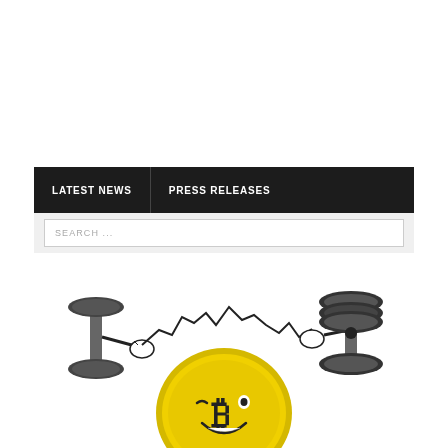LATEST NEWS | PRESS RELEASES
SEARCH ...
[Figure (illustration): Cartoon of a Bitcoin coin character with a winking face and the Bitcoin symbol, lifting barbells/weights with both hands. A jagged stock chart line extends from the coin's upper body area. The coin is yellow/gold colored, and the weights are gray/dark.]